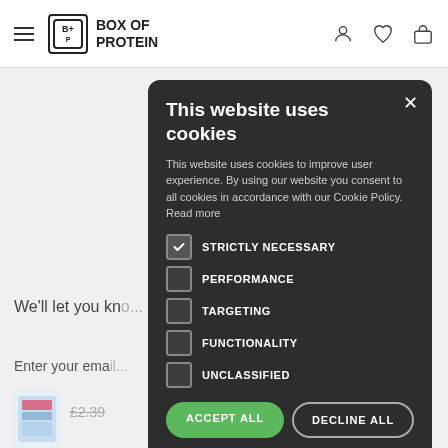[Figure (screenshot): Box of Protein website navigation bar with hamburger menu, logo, and icons for user, wishlist, and shopping bag]
This website uses cookies
This website uses cookies to improve user experience. By using our website you consent to all cookies in accordance with our Cookie Policy. Read more
STRICTLY NECESSARY
PERFORMANCE
TARGETING
FUNCTIONALITY
UNCLASSIFIED
ACCEPT ALL
DECLINE ALL
SHOW DETAILS